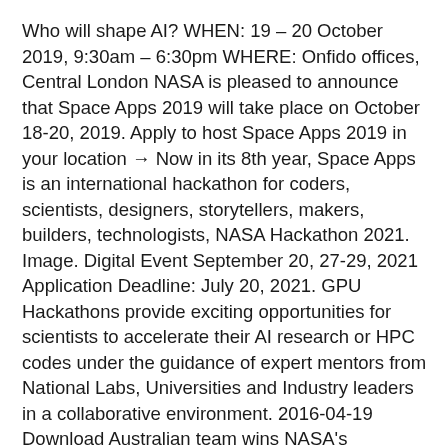Who will shape AI? WHEN: 19 – 20 October 2019, 9:30am – 6:30pm WHERE: Onfido offices, Central London NASA is pleased to announce that Space Apps 2019 will take place on October 18-20, 2019. Apply to host Space Apps 2019 in your location → Now in its 8th year, Space Apps is an international hackathon for coders, scientists, designers, storytellers, makers, builders, technologists, NASA Hackathon 2021. Image. Digital Event September 20, 27-29, 2021 Application Deadline: July 20, 2021. GPU Hackathons provide exciting opportunities for scientists to accelerate their AI research or HPC codes under the guidance of expert mentors from National Labs, Universities and Industry leaders in a collaborative environment. 2016-04-19 Download Australian team wins NASA's